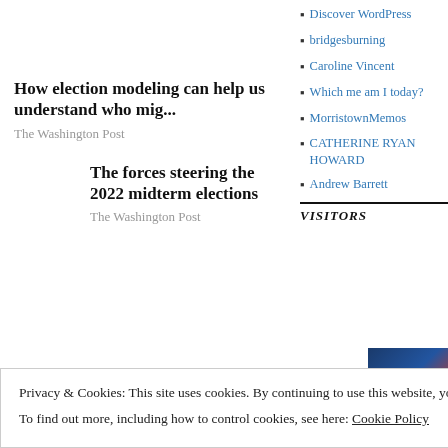How election modeling can help us understand who mig...
The Washington Post
The forces steering the 2022 midterm elections
The Washington Post
Discover WordPress
bridgesburning
Caroline Vincent
Which me am I today?
MorristownMemos
CATHERINE RYAN HOWARD
Andrew Barrett
VISITORS
Privacy & Cookies: This site uses cookies. By continuing to use this website, you agree to their use.
To find out more, including how to control cookies, see here: Cookie Policy